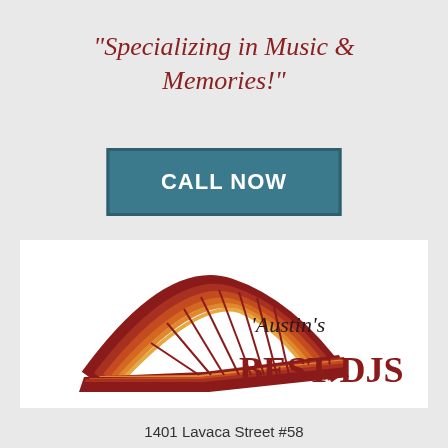"Specializing in Music & Memories!"
CALL NOW
[Figure (logo): Austin's Best DJs logo featuring a stylized bridge graphic in red, orange, and yellow stripes with the text "Austin's BEST DJS" in serif font]
1401 Lavaca Street #58